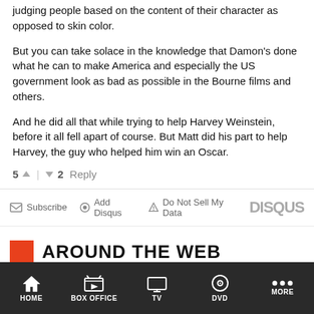judging people based on the content of their character as opposed to skin color.
But you can take solace in the knowledge that Damon's done what he can to make America and especially the US government look as bad as possible in the Bourne films and others.
And he did all that while trying to help Harvey Weinstein, before it all fell apart of course. But Matt did his part to help Harvey, the guy who helped him win an Oscar.
5 ↑ | ↓ 2 Reply
Subscribe | Add Disqus | Do Not Sell My Data | DISQUS
AROUND THE WEB
[Figure (photo): Two thumbnail images at bottom of the page]
HOME | BOX OFFICE | TV | DVD | MORE